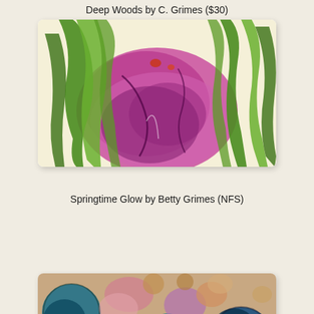Deep Woods by C. Grimes ($30)
[Figure (illustration): Abstract painting 'Springtime Glow' by Betty Grimes featuring green leaf shapes and large magenta/purple central form on light background]
Springtime Glow by Betty Grimes (NFS)
[Figure (illustration): Abstract painting showing colorful circular and organic shapes in blue, pink, teal, yellow, and earth tones against a textured background]